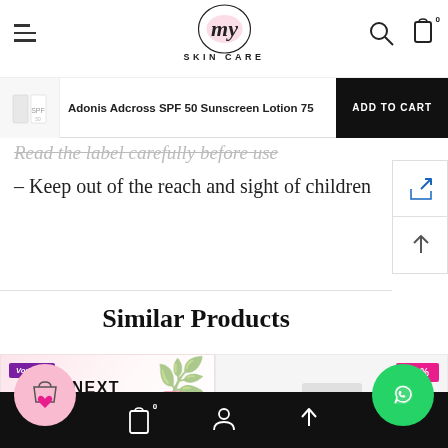MY SKIN CARE
Adonis Adcross SPF 50 Sunscreen Lotion 75 — ADD TO CART
Read the label carefully before use
– Keep out of the reach and sight of children
Similar Products
[Figure (photo): Retinext Revitalising Serum product image with Vodermo branding and palm leaf decoration]
[Figure (photo): Product with -2% discount badge]